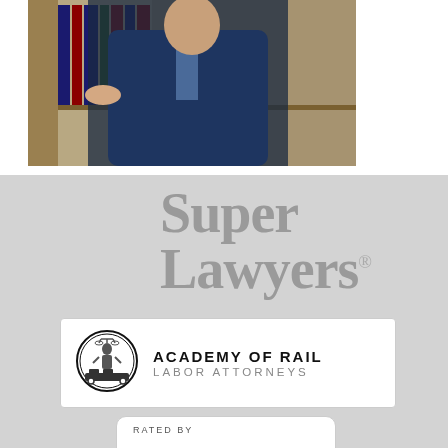[Figure (photo): Lawyer in navy pinstripe suit standing in front of bookshelf with law books, hand resting on shelf. Professional portrait photo.]
[Figure (logo): Super Lawyers logo — large gray serif text reading 'Super' on first line and 'Lawyers' with registered trademark symbol on second line, on light gray background.]
[Figure (logo): Academy of Rail Labor Attorneys badge — white rectangle with oval emblem on left (lady justice figure with train background) and text 'ACADEMY OF RAIL LABOR ATTORNEYS' on right in black serif/sans-serif.]
[Figure (logo): Rated By badge — white rounded rectangle with 'RATED BY' text visible at top, partially cut off at bottom of page.]